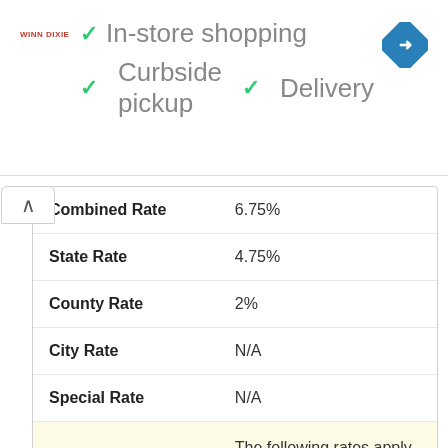[Figure (screenshot): Ad banner with Winn Dixie logo and green checkmarks listing In-store shopping, Curbside pickup, and Delivery, with a blue navigation arrow icon on the right]
|  |  |
| --- | --- |
| Combined Rate | 6.75% |
| State Rate | 4.75% |
| County Rate | 2% |
| City Rate | N/A |
| Special Rate | N/A |
|  | The following rates apply to the AIKEN COUNTY tax region (see note above) |
| Month | January 2022 |
| Combined Rate | 8% |